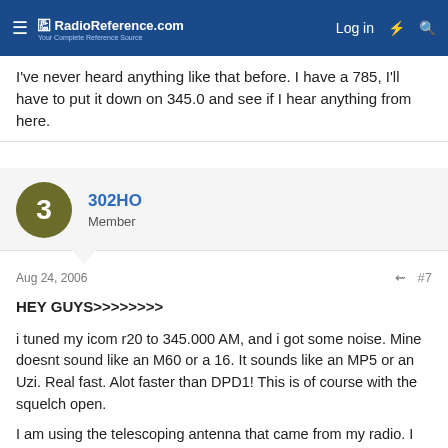RadioReference.com — Log in
I've never heard anything like that before. I have a 785, I'll have to put it down on 345.0 and see if I hear anything from here.
302HO
Member
Aug 24, 2006  #7
HEY GUYS>>>>>>>>

i tuned my icom r20 to 345.000 AM, and i got some noise. Mine doesnt sound like an M60 or a 16. It sounds like an MP5 or an Uzi. Real fast. Alot faster than DPD1! This is of course with the squelch open.

I am using the telescoping antenna that came from my radio. I took it off and tried my Maldol AL-500. The maldol brought it in a little more. The maldol is actually broke right now so maybe i could come in better when i get my new one.